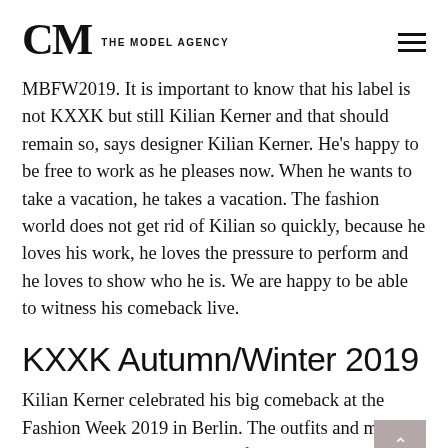CM THE MODEL AGENCY
MBFW2019. It is important to know that his label is not KXXK but still Kilian Kerner and that should remain so, says designer Kilian Kerner. He's happy to be free to work as he pleases now. When he wants to take a vacation, he takes a vacation. The fashion world does not get rid of Kilian so quickly, because he loves his work, he loves the pressure to perform and he loves to show who he is. We are happy to be able to witness his comeback live.
KXXK Autumn/Winter 2019
Kilian Kerner celebrated his big comeback at the Fashion Week 2019 in Berlin. The outfits and music made us experience the city life on the runway. An